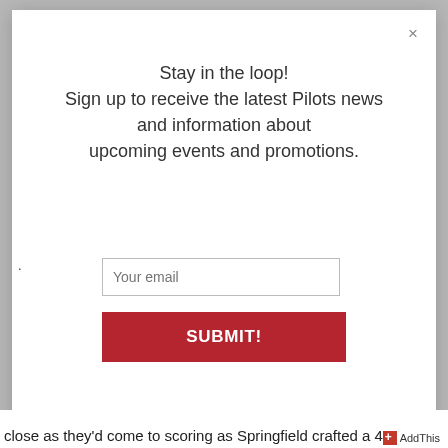[Figure (screenshot): Modal popup dialog with close button (×) in top right corner, newsletter signup form with title text, email input field, and red submit button]
Stay in the loop!
Sign up to receive the latest Pilots news and information about upcoming events and promotions.
Your email
SUBMIT!
close as they'd come to scoring as Springfield crafted a 4
AddThis